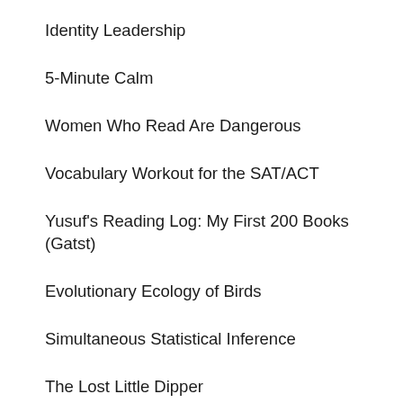Identity Leadership
5-Minute Calm
Women Who Read Are Dangerous
Vocabulary Workout for the SAT/ACT
Yusuf's Reading Log: My First 200 Books (Gatst)
Evolutionary Ecology of Birds
Simultaneous Statistical Inference
The Lost Little Dipper